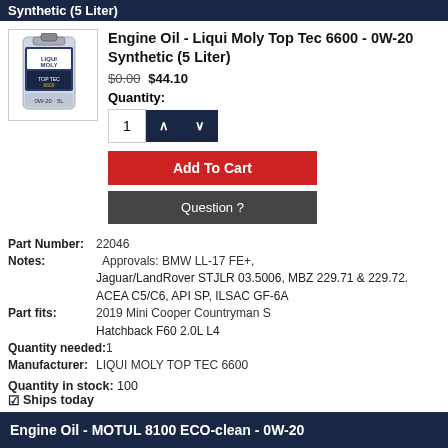Synthetic (5 Liter)
[Figure (photo): Product image of Liqui Moly Top Tec 6600 engine oil 5 liter jug]
Engine Oil - Liqui Moly Top Tec 6600 - 0W-20 Synthetic (5 Liter)
$0.00 $44.10
Quantity:
1
Add To Cart
Question ?
Part Number: 22046
Notes: Approvals: BMW LL-17 FE+, Jaguar/LandRover STJLR 03.5006, MBZ 229.71 & 229.72. ACEA C5/C6, API SP, ILSAC GF-6A
Part fits: 2019 Mini Cooper Countryman S Hatchback F60 2.0L L4
Quantity needed: 1
Manufacturer: LIQUI MOLY TOP TEC 6600
Quantity in stock: 100
✓Ships today
Engine Oil - MOTUL 8100 ECO-clean - 0W-20